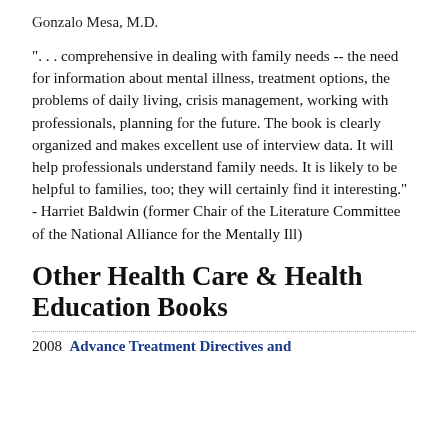Gonzalo Mesa, M.D.
"... comprehensive in dealing with family needs -- the need for information about mental illness, treatment options, the problems of daily living, crisis management, working with professionals, planning for the future. The book is clearly organized and makes excellent use of interview data. It will help professionals understand family needs. It is likely to be helpful to families, too; they will certainly find it interesting." - Harriet Baldwin (former Chair of the Literature Committee of the National Alliance for the Mentally Ill)
Other Health Care & Health Education Books
2008  Advance Treatment Directives and